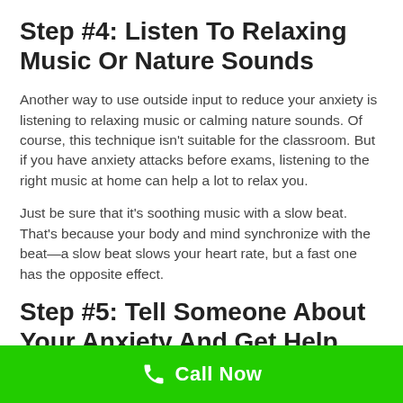Step #4: Listen To Relaxing Music Or Nature Sounds
Another way to use outside input to reduce your anxiety is listening to relaxing music or calming nature sounds. Of course, this technique isn’t suitable for the classroom. But if you have anxiety attacks before exams, listening to the right music at home can help a lot to relax you.
Just be sure that it’s soothing music with a slow beat. That’s because your body and mind synchronize with the beat—a slow beat slows your heart rate, but a fast one has the opposite effect.
Step #5: Tell Someone About Your Anxiety And Get Help
Call Now